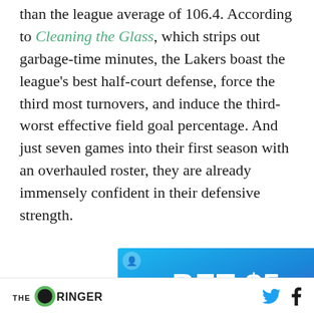than the league average of 106.4. According to Cleaning the Glass, which strips out garbage-time minutes, the Lakers boast the league's best half-court defense, force the third most turnovers, and induce the third-worst effective field goal percentage. And just seven games into their first season with an overhauled roster, they are already immensely confident in their defensive strength.
[Figure (other): Advertisement banner: BET $5 GET $150 on blue/purple gradient background with basketball imagery]
The Ringer logo with Twitter and Facebook social icons